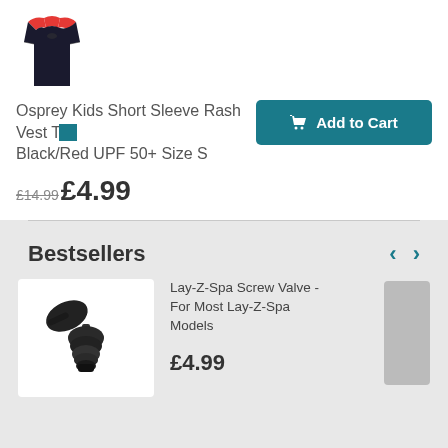[Figure (photo): Osprey kids short sleeve rash vest product image - black top with red shoulders]
Osprey Kids Short Sleeve Rash Vest Top Black/Red UPF 50+ Size S
[Figure (other): Add to Cart button with shopping cart icon, teal background]
£14.99£4.99
Bestsellers
[Figure (photo): Lay-Z-Spa Screw Valve product image - black plastic valve component]
Lay-Z-Spa Screw Valve - For Most Lay-Z-Spa Models
£4.99